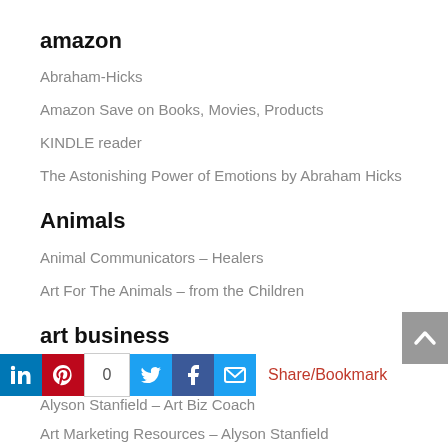amazon
Abraham-Hicks
Amazon Save on Books, Movies, Products
KINDLE reader
The Astonishing Power of Emotions by Abraham Hicks
Animals
Animal Communicators – Healers
Art For The Animals – from the Children
art business
“I’d rather be in the studio”
Alyson Stanfield – Art Biz Coach
[Figure (infographic): Social sharing bar with LinkedIn, Pinterest (with share count 0), Twitter, Facebook, Email icons and Share/Bookmark link]
Art Marketing Resources – Alyson Stanfield